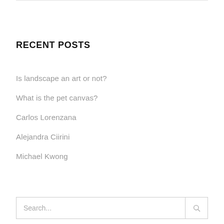RECENT POSTS
Is landscape an art or not?
What is the pet canvas?
Carlos Lorenzana
Alejandra Ciirini
Michael Kwong